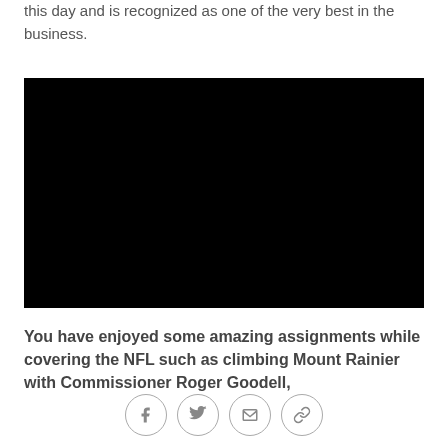this day and is recognized as one of the very best in the business.
[Figure (photo): Solid black rectangular image area, content not visible]
You have enjoyed some amazing assignments while covering the NFL such as climbing Mount Rainier with Commissioner Roger Goodell,
[Figure (other): Social sharing buttons: Facebook, Twitter, Email, Link]